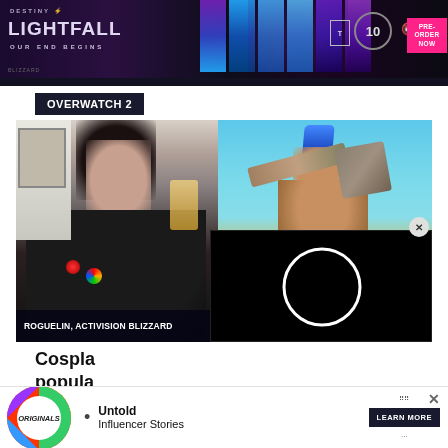[Figure (photo): Destiny 2 Lightfall advertisement banner with colorful vertical strips, timer, mute icon, and PRE-ORDER NOW button]
OVERWATCH 2
[Figure (photo): Split image: left side shows a woman with a mohawk hairstyle taking a selfie wearing a black jacket with pins; right side shows an Overwatch 2 game character (Junker Queen) with blue mohawk holding a weapon against a blue sky background. Caption reads ROGUELIN, ACTIVISION BLIZZARD. A black video overlay with loading circle appears in the bottom right.]
ROGUELIN, ACTIVISION BLIZZARD
Cospl... popula... g
[Figure (infographic): Bottom advertisement showing Originals badge logo with colorful circular design and text 'Untold Influencer Stories' with a LEARN MORE button]